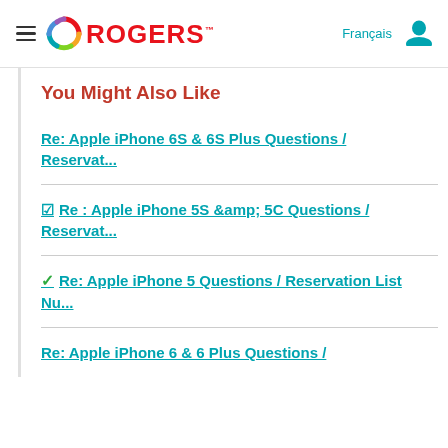Rogers — Français (navigation header)
You Might Also Like
Re: Apple iPhone 6S & 6S Plus Questions / Reservat...
Re : Apple iPhone 5S &amp; 5C Questions / Reservat...
Re: Apple iPhone 5 Questions / Reservation List Nu...
Re: Apple iPhone 6 & 6 Plus Questions /